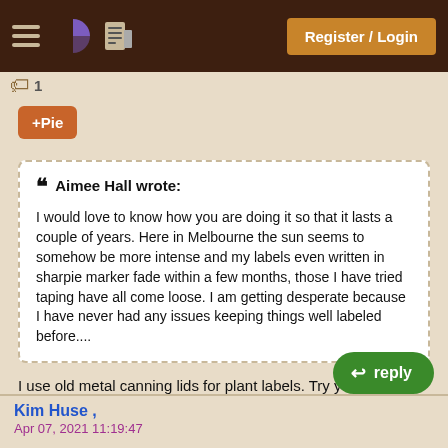Register / Login
+Pie
❝ Aimee Hall wrote:

I would love to know how you are doing it so that it lasts a couple of years. Here in Melbourne the sun seems to somehow be more intense and my labels even written in sharpie marker fade within a few months, those I have tried taping have all come loose. I am getting desperate because I have never had any issues keeping things well labeled before....
I use old metal canning lids for plant labels. Try your sharpie on both sides and see if that works for you.
reply
Kim Huse ,
Apr 07, 2021 11:19:47